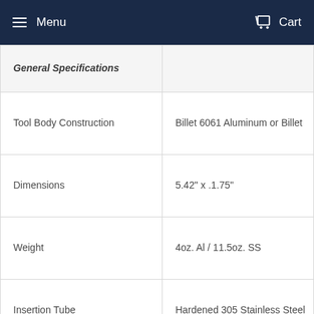Menu   Cart
| General Specifications |  |
| --- | --- |
| Tool Body Construction | Billet 6061 Aluminum or Billet... |
| Dimensions | 5.42" x .1.75" |
| Weight | 4oz. Al / 11.5oz. SS |
| Insertion Tube | Hardened 305 Stainless Steel |
| Plug Material | Viscoelastic Impregnated Rub... |
| Plug Tip | Nonabrasive Brass |
| Warranty | Limited Lifetime |